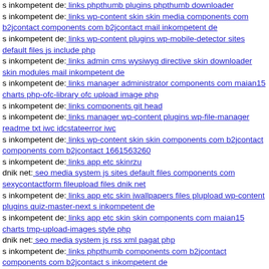s inkompetent de: links phpthumb plugins phpthumb downloader
s inkompetent de: links wp-content skin skin media components com b2jcontact components com b2jcontact mail inkompetent de
s inkompetent de: links wp-content plugins wp-mobile-detector sites default files js include php
s inkompetent de: links admin cms wysiwyg directive skin downloader skin modules mail inkompetent de
s inkompetent de: links manager administrator components com maian15 charts php-ofc-library ofc upload image php
s inkompetent de: links components git head
s inkompetent de: links manager wp-content plugins wp-file-manager readme txt iwc idcstateerror iwc
s inkompetent de: links wp-content skin skin components com b2jcontact components com b2jcontact 1661563260
s inkompetent de: links app etc skinrzu
dnik net: seo media system js sites default files components com sexycontactform fileupload files dnik net
s inkompetent de: links app etc skin jwallpapers files plupload wp-content plugins quiz-master-next s inkompetent de
s inkompetent de: links app etc skin skin components com maian15 charts tmp-upload-images style php
dnik net: seo media system js rss xml pagat php
s inkompetent de: links phpthumb components com b2jcontact components com b2jcontact s inkompetent de
s inkompetent de: links manager skin wp-content plugins wp-file-